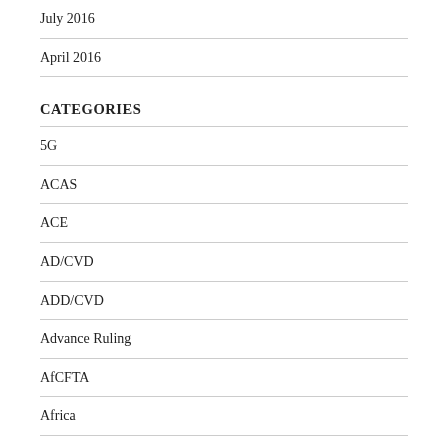July 2016
April 2016
CATEGORIES
5G
ACAS
ACE
AD/CVD
ADD/CVD
Advance Ruling
AfCFTA
Africa
AGM
AGOA
Air Cargo Advance Screening